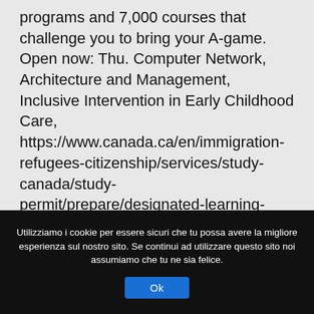programs and 7,000 courses that challenge you to bring your A-game. Open now: Thu. Computer Network, Architecture and Management, Inclusive Intervention in Early Childhood Care, https://www.canada.ca/en/immigration-refugees-citizenship/services/study-canada/study-permit/prepare/designated-learning-institutions-list.html#dli-dropdown. All our dishes were under seasoned and I typically would rarely bring that up in a restaurant. Not all designated learning institutions make you eligible for the Post-Graduation Work Permit
Utilizziamo i cookie per essere sicuri che tu possa avere la migliore esperienza sul nostro sito. Se continui ad utilizzare questo sito noi assumiamo che tu ne sia felice.
Ok